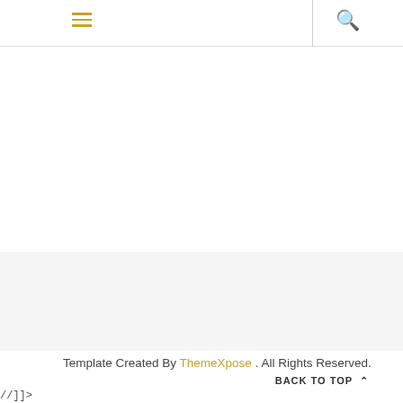≡  🔍
Template Created By ThemeXpose . All Rights Reserved.
BACK TO TOP ^^
//]]>